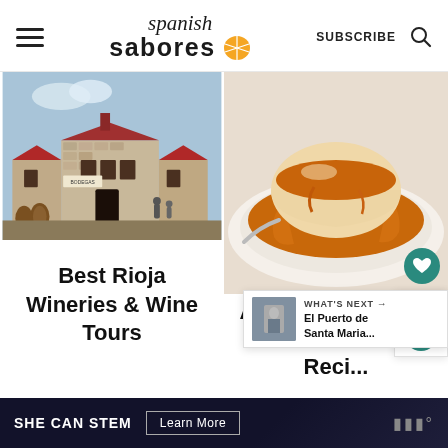Spanish Sabores — SUBSCRIBE
[Figure (photo): Exterior of a Rioja winery building with red trim, stone walls, barrels, and people outside]
Best Rioja Wineries & Wine Tours
[Figure (photo): Close-up of a Spanish flan (crème caramel) with caramel sauce on a white plate]
Authentic Spanish Fl... Reci...
WHAT'S NEXT → El Puerto de Santa Maria...
SHE CAN STEM  Learn More